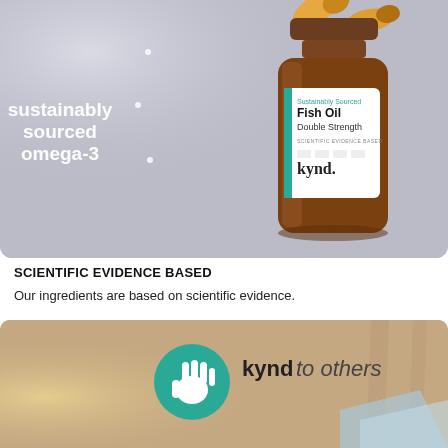[Figure (photo): Kynd sustainably sourced Fish Oil Double Strength supplement bottle on a light grey background, with fish oil capsules floating above it. Text overlay reads 'sustainably sourced omega-3' in white.]
SCIENTIFIC EVIDENCE BASED
Our ingredients are based on scientific evidence.
[Figure (photo): Kynd 'kynd to others' branding image showing the kynd logo (teal circle with white hand icon) and italic text 'kynd to others', with a person holding a light-blue envelope or package.]